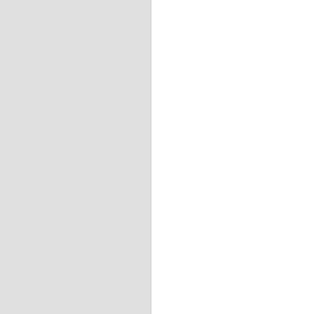[Figure (screenshot): Left sidebar with gray background]
[Figure (screenshot): Text area input box with border]
Submit Comment
« TUES, 3/6 >> Affordable Housing